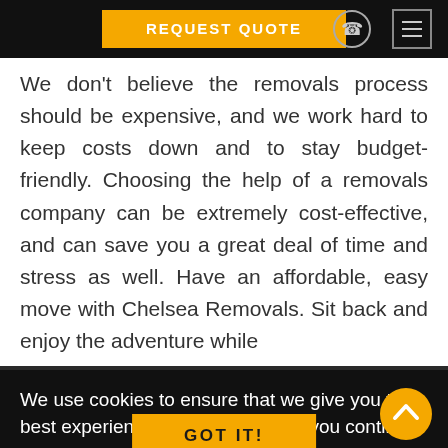REQUEST QUOTE
We don't believe the removals process should be expensive, and we work hard to keep costs down and to stay budget-friendly. Choosing the help of a removals company can be extremely cost-effective, and can save you a great deal of time and stress as well. Have an affordable, easy move with Chelsea Removals. Sit back and enjoy the adventure while
We use cookies to ensure that we give you the best experience on our website. If you continue to use this site we will assume that you are happy with it
GOT IT!